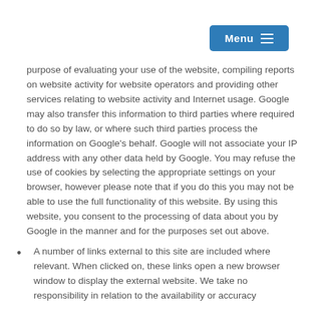Menu
purpose of evaluating your use of the website, compiling reports on website activity for website operators and providing other services relating to website activity and Internet usage. Google may also transfer this information to third parties where required to do so by law, or where such third parties process the information on Google's behalf. Google will not associate your IP address with any other data held by Google. You may refuse the use of cookies by selecting the appropriate settings on your browser, however please note that if you do this you may not be able to use the full functionality of this website. By using this website, you consent to the processing of data about you by Google in the manner and for the purposes set out above.
A number of links external to this site are included where relevant. When clicked on, these links open a new browser window to display the external website. We take no responsibility in relation to the availability or accuracy